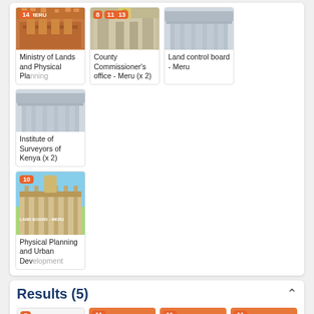[Figure (screenshot): Grid of institution cards: Ministry of Lands and Physical Planning (badge 14), County Commissioner's office - Meru (x 2), Land control board - Meru, Institute of Surveyors of Kenya (x 2), Physical Planning and Urban Development (badge 10)]
Ministry of Lands and Physical Planning
County Commissioner's office - Meru (x 2)
Land control board - Meru
Institute of Surveyors of Kenya (x 2)
Physical Planning and Urban Development
Results (5)
[Figure (screenshot): Grid of document cards: Letter of consent (badge 5), Amended parcel numbers (badge 11), Approved mutation form (badge 11), Release document (badge 11)]
Letter of consent
Amended parcel numbers
Approved mutation form
Release document